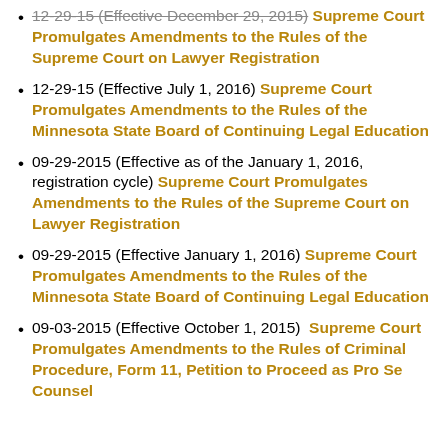12-29-15 (Effective December 29, 2015) Supreme Court Promulgates Amendments to the Rules of the Supreme Court on Lawyer Registration
12-29-15 (Effective July 1, 2016) Supreme Court Promulgates Amendments to the Rules of the Minnesota State Board of Continuing Legal Education
09-29-2015 (Effective as of the January 1, 2016, registration cycle) Supreme Court Promulgates Amendments to the Rules of the Supreme Court on Lawyer Registration
09-29-2015 (Effective January 1, 2016) Supreme Court Promulgates Amendments to the Rules of the Minnesota State Board of Continuing Legal Education
09-03-2015 (Effective October 1, 2015)  Supreme Court Promulgates Amendments to the Rules of Criminal Procedure, Form 11, Petition to Proceed as Pro Se Counsel